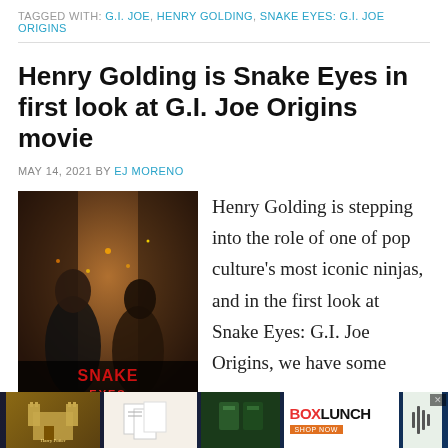TAGGED WITH: G.I. JOE, HENRY GOLDING, SNAKE EYES: G.I. JOE ORIGINS
Henry Golding is Snake Eyes in first look at G.I. Joe Origins movie
MAY 14, 2021 BY EJ MORENO
[Figure (photo): Movie promotional image for Snake Eyes: G.I. Joe Origins showing two figures in front of a dramatic background with 'SNAKE EYES' text]
Henry Golding is stepping into the role of one of pop culture's most iconic ninjas, and in the first look at Snake Eyes: G.I. Joe Origins, we have some stills from the film showing Golding in the title role...
[Figure (other): Advertisement banner for BoxLunch featuring Harry Potter merchandise items]